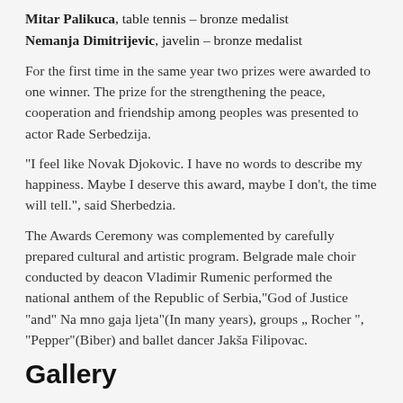Mitar Palikuca, table tennis – bronze medalist
Nemanja Dimitrijevic, javelin – bronze medalist
For the first time in the same year two prizes were awarded to one winner. The prize for the strengthening the peace, cooperation and friendship among peoples was presented to actor Rade Serbedzija.
“I feel like Novak Djokovic. I have no words to describe my happiness. Maybe I deserve this award, maybe I don’t, the time will tell.”, said Sherbedzia.
The Awards Ceremony was complemented by carefully prepared cultural and artistic program. Belgrade male choir conducted by deacon Vladimir Rumenic performed the national anthem of the Republic of Serbia,“God of Justice “and” Na mno gaja ljeta”(In many years), groups „ Rocher ”, “Pepper”(Biber) and ballet dancer Jakša Filipovac.
Gallery